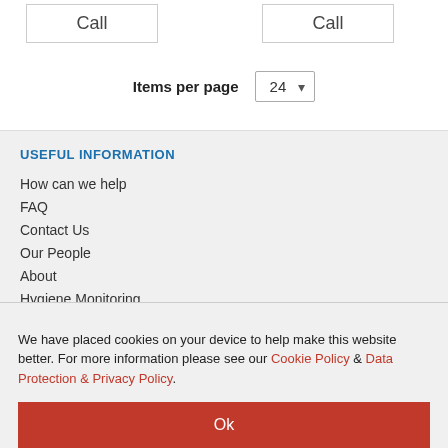|  |  |
| --- | --- |
| Call | Call |
Items per page  24
USEFUL INFORMATION
How can we help
FAQ
Contact Us
Our People
About
Hygiene Monitoring
We have placed cookies on your device to help make this website better. For more information please see our Cookie Policy & Data Protection & Privacy Policy.
Ok